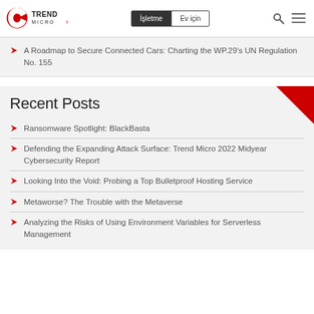Trend Micro | İşletme | Ev için
A Roadmap to Secure Connected Cars: Charting the WP.29's UN Regulation No. 155
Recent Posts
Ransomware Spotlight: BlackBasta
Defending the Expanding Attack Surface: Trend Micro 2022 Midyear Cybersecurity Report
Looking Into the Void: Probing a Top Bulletproof Hosting Service
Metaworse? The Trouble with the Metaverse
Analyzing the Risks of Using Environment Variables for Serverless Management